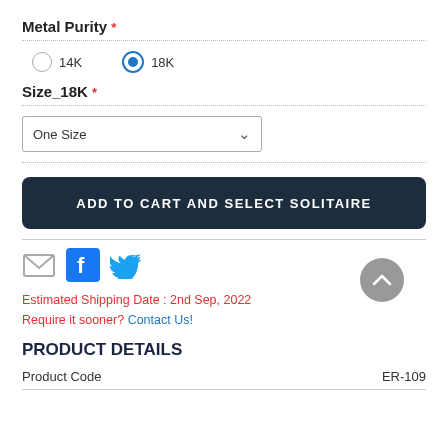Metal Purity *
14K (unselected), 18K (selected)
Size_18K *
One Size (dropdown)
ADD TO CART AND SELECT SOLITAIRE
[Figure (infographic): Social share icons: email envelope, Facebook, Twitter]
Estimated Shipping Date : 2nd Sep, 2022
Require it sooner? Contact Us!
PRODUCT DETAILS
| Product Code | ER-109 |
| --- | --- |